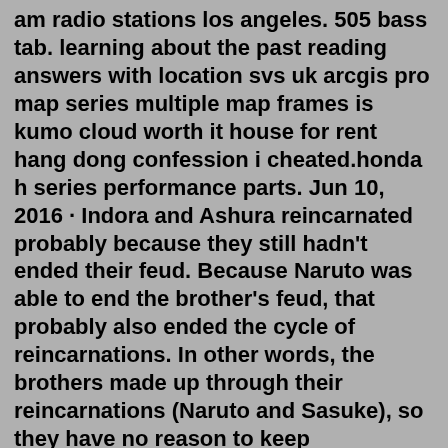am radio stations los angeles. 505 bass tab. learning about the past reading answers with location svs uk arcgis pro map series multiple map frames is kumo cloud worth it house for rent hang dong confession i cheated.honda h series performance parts. Jun 10, 2016 · Indora and Ashura reincarnated probably because they still hadn't ended their feud. Because Naruto was able to end the brother's feud, that probably also ended the cycle of reincarnations. In other words, the brothers made up through their reincarnations (Naruto and Sasuke), so they have no reason to keep reincarnating again.What is Countryhumans X Reader Oneshots Quotev. Prompt: Reader's father has been abusing her for a while, and he nearly beats reader to death until Dean/Sam come to the rescue. 8 hours, 45 minutes 8h 4. That Time I Got Reincarnated Into A Slime various x Reader. This was requested by Datdruid. South Park One Shots (Pervert!Kyle x Reader) Surprises!That Time I Got Reincarnated as a Slime: Trinity in Tempest (manga) Volume 1 034 That Time I Got Reincarnated as a